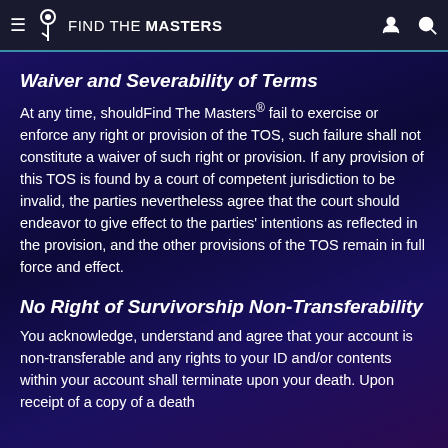FIND THE MASTERS
Waiver and Severability of Terms
At any time, shouldFind The Masters® fail to exercise or enforce any right or provision of the TOS, such failure shall not constitute a waiver of such right or provision. If any provision of this TOS is found by a court of competent jurisdiction to be invalid, the parties nevertheless agree that the court should endeavor to give effect to the parties' intentions as reflected in the provision, and the other provisions of the TOS remain in full force and effect.
No Right of Survivorship Non-Transferability
You acknowledge, understand and agree that your account is non-transferable and any rights to your ID and/or contents within your account shall terminate upon your death. Upon receipt of a copy of a death